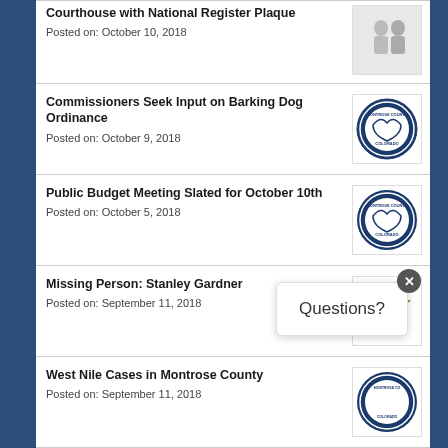Courthouse with National Register Plaque
Posted on: October 10, 2018
Commissioners Seek Input on Barking Dog Ordinance
Posted on: October 9, 2018
Public Budget Meeting Slated for October 10th
Posted on: October 5, 2018
Missing Person: Stanley Gardner
Posted on: September 11, 2018
West Nile Cases in Montrose County
Posted on: September 11, 2018
Fourth Annual Tribute to Aviation: Salute to Women in Aviation